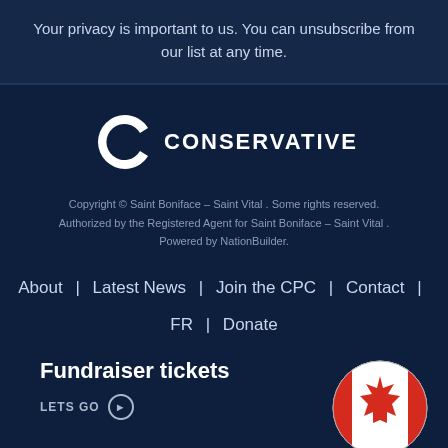Your privacy is important to us. You can unsubscribe from our list at any time.
[Figure (logo): Conservative Party of Canada logo — white C with maple leaf and star inside, followed by bold text CONSERVATIVE]
Copyright © Saint Boniface – Saint Vital . Some rights reserved. Authorized by the Registered Agent for Saint Boniface – Saint Vital . Powered by NationBuilder.
About  |  Latest News  |  Join the CPC  |  Contact  |  FR  |  Donate
Fundraiser tickets
LETS GO →
[Figure (illustration): Circular image of Canadian flag with red maple leaf on white background]